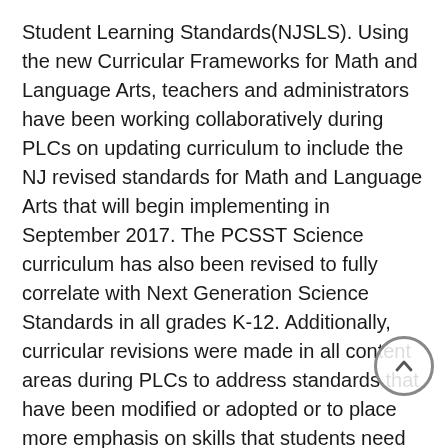Student Learning Standards(NJSLS). Using the new Curricular Frameworks for Math and Language Arts, teachers and administrators have been working collaboratively during PLCs on updating curriculum to include the NJ revised standards for Math and Language Arts that will begin implementing in September 2017. The PCSST Science curriculum has also been revised to fully correlate with Next Generation Science Standards in all grades K-12. Additionally, curricular revisions were made in all content areas during PLCs to address standards that have been modified or adopted or to place more emphasis on skills that students need the most. Crossgrade(k-12) vertical articulation meetings have taken place to discuss vertical alignment of knowledge and skills that need more focus across all grades.
PCSST uses a variety of assessment data to identify gaps in attainment of the standards. PARCC assessment data will show how well our students are meeting the knowledge and